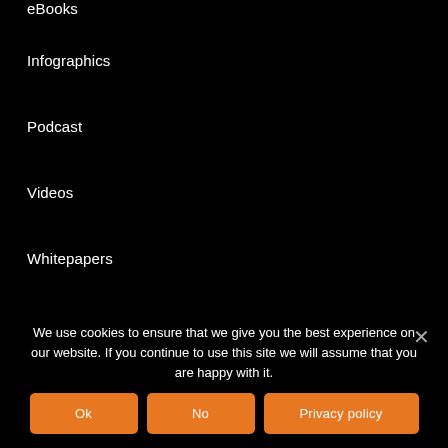eBooks
Infographics
Podcast
Videos
Whitepapers
Careers
Search and Apply
Learning  & Development
Life@Firstsource
We use cookies to ensure that we give you the best experience on our website. If you continue to use this site we will assume that you are happy with it.
Ok  No  Privacy policy